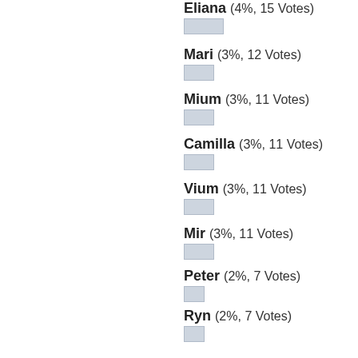Eliana (4%, 15 Votes)
Mari (3%, 12 Votes)
Mium (3%, 11 Votes)
Camilla (3%, 11 Votes)
Vium (3%, 11 Votes)
Mir (3%, 11 Votes)
Peter (2%, 7 Votes)
Ryn (2%, 7 Votes)
Amy (2%, 7 Votes)
Artem (2%, 7 Votes)
Mione (2%, 7 Votes)
Miss Holmgren (1%, 6 Votes)
Rovak (1%, 6 Votes)
Arkady (1%, 6 Votes)
Magnolia (1%, 6 Votes)